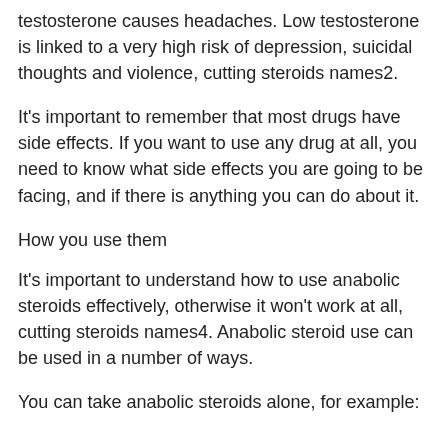testosterone causes headaches. Low testosterone is linked to a very high risk of depression, suicidal thoughts and violence, cutting steroids names2.
It's important to remember that most drugs have side effects. If you want to use any drug at all, you need to know what side effects you are going to be facing, and if there is anything you can do about it.
How you use them
It's important to understand how to use anabolic steroids effectively, otherwise it won't work at all, cutting steroids names4. Anabolic steroid use can be used in a number of ways.
You can take anabolic steroids alone, for example: